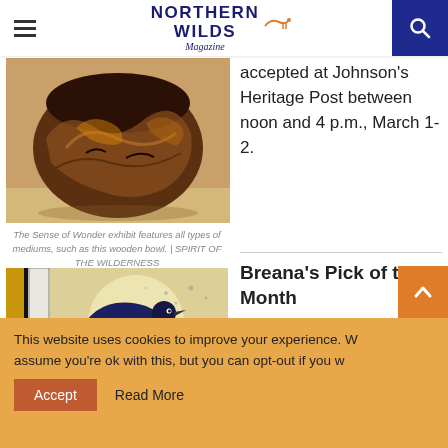Northern Wilds Magazine (header with hamburger menu and search button)
[Figure (photo): A wooden bowl made from a dark burl wood with amber and brown tones, displayed against a light background]
The Sense of Wonder exhibit features all types of mediums, such as this wooden bowl. | SPIRIT OF THE WILDERNESS
accepted at Johnson's Heritage Post between noon and 4 p.m., March 1-2.
Breana's Pick of the Month
[Figure (photo): A colorful bird artwork featuring an iridescent crow/raven with decorative folk art patterns on a textured background with yellow and white tones]
Jess Oullis Smith recently started
This website uses cookies to improve your experience. W assume you're ok with this, but you can opt-out if you w
Accept   Read More